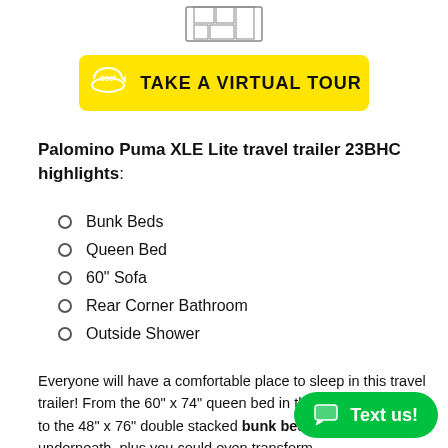[Figure (schematic): Floor plan schematic icon of travel trailer at top of page]
[Figure (other): Yellow button with 360-degree icon reading TAKE A VIRTUAL TOUR]
Palomino Puma XLE Lite travel trailer 23BHC highlights:
Bunk Beds
Queen Bed
60" Sofa
Rear Corner Bathroom
Outside Shower
Everyone will have a comfortable place to sleep in this travel trailer! From the 60" x 74" queen bed in the front bedroom to the 48" x 76" double stacked bunk beds with storage underneath, plus you could even transform the sofa...